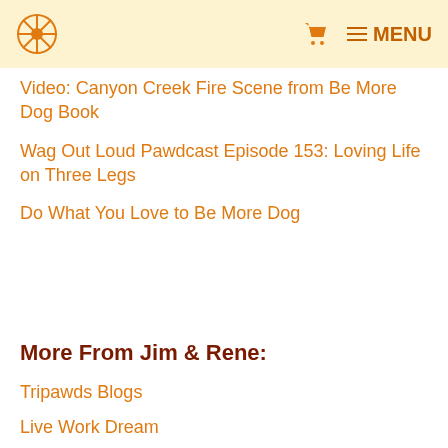Tripawds logo | Cart | MENU
Video: Canyon Creek Fire Scene from Be More Dog Book
Wag Out Loud Pawdcast Episode 153: Loving Life on Three Legs
Do What You Love to Be More Dog
More From Jim & Rene:
Tripawds Blogs
Live Work Dream